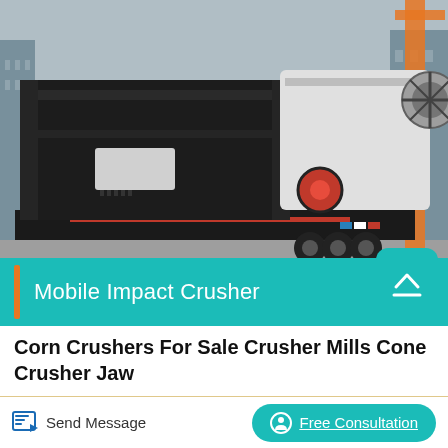[Figure (photo): Mobile Impact Crusher machine on a trailer/flatbed, large industrial heavy-duty equipment photographed at a facility outdoors]
Mobile Impact Crusher
Corn Crushers For Sale Crusher Mills Cone Crusher Jaw
Primary crushers that are heavy duty, just like the crushers in the Philippines, can crush a ROM ore. Under Primary crushers are the
Send Message
Free Consultation